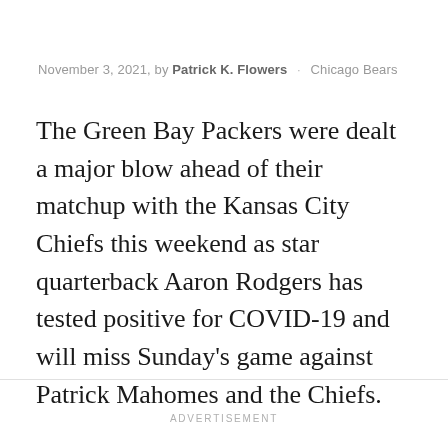November 3, 2021, by Patrick K. Flowers · Chicago Bears
The Green Bay Packers were dealt a major blow ahead of their matchup with the Kansas City Chiefs this weekend as star quarterback Aaron Rodgers has tested positive for COVID-19 and will miss Sunday's game against Patrick Mahomes and the Chiefs.
ADVERTISEMENT